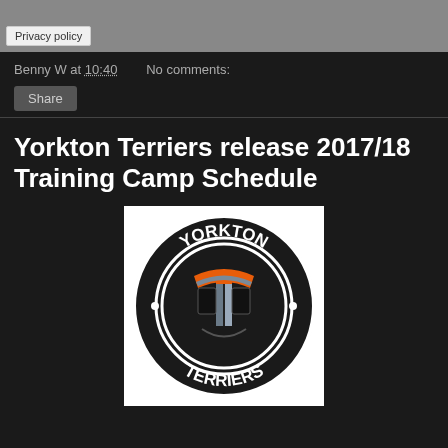[Figure (other): Gray placeholder image area with Privacy policy button]
Benny W at 10:40   No comments:
Share
Yorkton Terriers release 2017/18 Training Camp Schedule
[Figure (logo): Yorkton Terriers circular logo: black circle with YORKTON top and TERRIERS bottom in white text, orange and silver T letter in center with dots on sides]